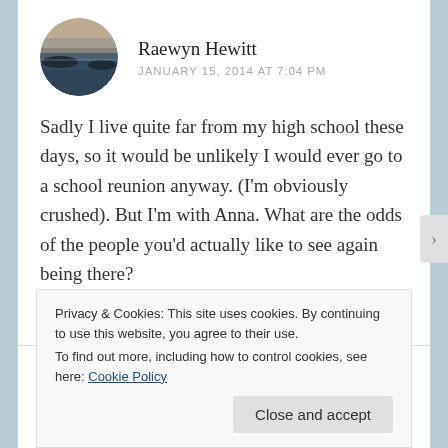[Figure (photo): Circular avatar photo showing a landscape with a lake and sunset sky]
Raewyn Hewitt
JANUARY 15, 2014 AT 7:04 PM
Sadly I live quite far from my high school these days, so it would be unlikely I would ever go to a school reunion anyway. (I'm obviously crushed). But I'm with Anna. What are the odds of the people you'd actually like to see again being there?
★ Like
Privacy & Cookies: This site uses cookies. By continuing to use this website, you agree to their use.
To find out more, including how to control cookies, see here: Cookie Policy
Close and accept